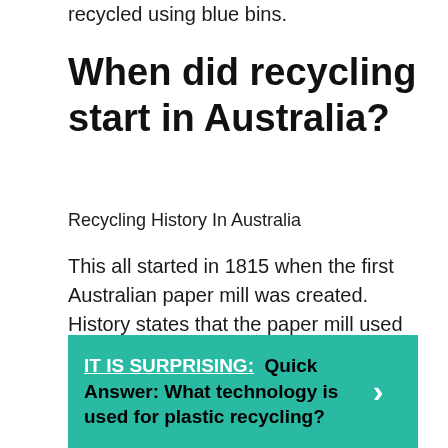recycled using blue bins.
When did recycling start in Australia?
Recycling History In Australia
This all started in 1815 when the first Australian paper mill was created. History states that the paper mill used recycled rags and turn them into paper material. Additionally, Planet Ark reported that BHP first began using recycled steel back in 1915.
IT IS SURPRISING: Quick Answer: What technology is used for plastic recycling?